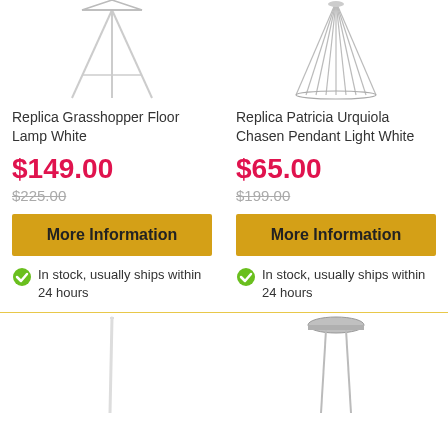[Figure (photo): Replica Grasshopper Floor Lamp White - product image top portion]
Replica Grasshopper Floor Lamp White
$149.00
$225.00
More Information
In stock, usually ships within 24 hours
[Figure (photo): Replica Patricia Urquiola Chasen Pendant Light White - product image top portion]
Replica Patricia Urquiola Chasen Pendant Light White
$65.00
$199.00
More Information
In stock, usually ships within 24 hours
[Figure (photo): Floor lamp product image - bottom left, partial view]
[Figure (photo): Pendant light ceiling mount - bottom right, partial view]